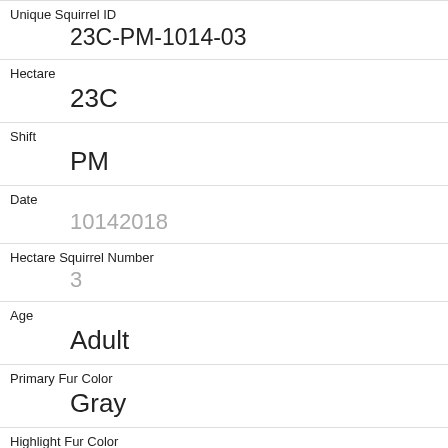| Unique Squirrel ID | 23C-PM-1014-03 |
| Hectare | 23C |
| Shift | PM |
| Date | 10142018 |
| Hectare Squirrel Number | 3 |
| Age | Adult |
| Primary Fur Color | Gray |
| Highlight Fur Color |  |
| Combination of Primary and Highlight Color | Gray+ |
| Color notes |  |
| Location |  |